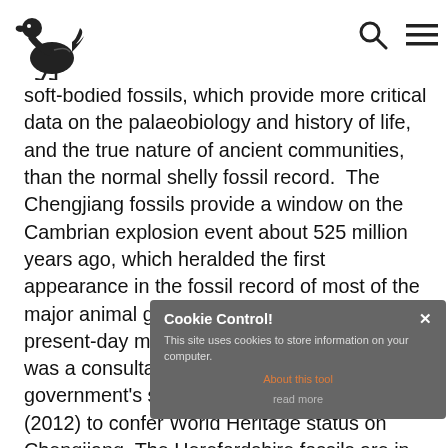[Logo: Dodo bird illustration] [Search icon] [Menu icon]
soft-bodied fossils, which provide more critical data on the palaeobiology and history of life, and the true nature of ancient communities, than the normal shelly fossil record. The Chengjiang fossils provide a window on the Cambrian explosion event about 525 million years ago, which heralded the first appearance in the fossil record of most of the major animal groups that now comprise present-day marine biodiversity. Derek Siveter was a consultant for the Chinese government's successful UNESCO application (2012) to confer World Heritage status on Chengjiang. The Herefordshire fossils are in 3D and recovered by physical-optical tomographic computer methods. They are providing an unparalleled view of
Cookie Control!
This site uses cookies to store information on your computer.
About this tool
read more